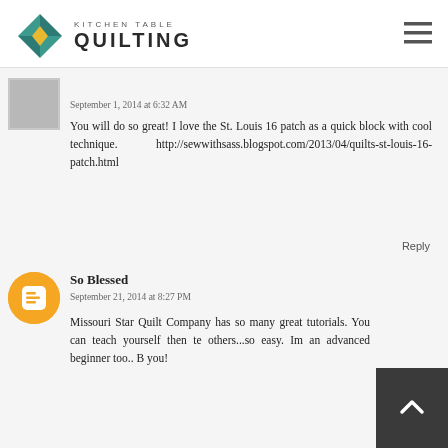Kitchen Table Quilting
September 1, 2014 at 6:32 AM
You will do so great! I love the St. Louis 16 patch as a quick block with cool technique. http://sewwithsass.blogspot.com/2013/04/quilts-st-louis-16-patch.html
Reply
So Blessed
September 21, 2014 at 8:27 PM
Missouri Star Quilt Company has so many great tutorials. You can teach yourself then teach others...so easy. Im an advanced beginner too.. Bless you!